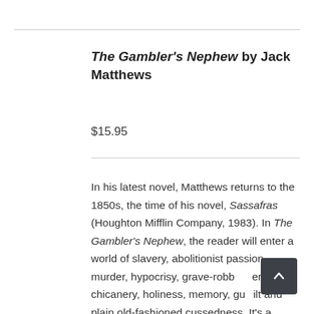The Gambler's Nephew by Jack Matthews
$15.95
In his latest novel, Matthews returns to the 1850s, the time of his novel, Sassafras (Houghton Mifflin Company, 1983). In The Gambler's Nephew, the reader will enter a world of slavery, abolitionist passion, murder, hypocrisy, grave-robbery, chicanery, holiness, memory, guilt and plain old-fashioned cussedness. It's a politically